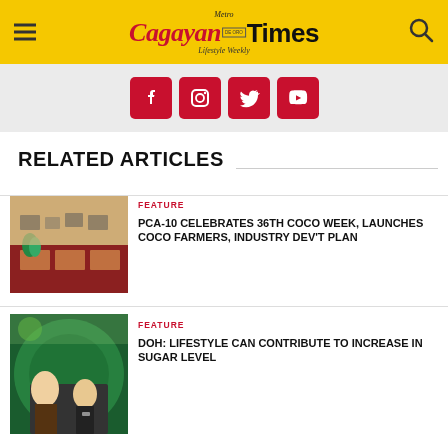Metro Cagayan de Oro Times – Lifestyle Weekly
[Figure (logo): Metro Cagayan de Oro Times Lifestyle Weekly logo on yellow background]
[Figure (infographic): Social media icons: Facebook, Instagram, Twitter, YouTube in red rounded squares]
RELATED ARTICLES
FEATURE
PCA-10 CELEBRATES 36TH COCO WEEK, LAUNCHES COCO FARMERS, INDUSTRY DEV'T PLAN
[Figure (photo): Meeting room photo with people seated at round tables with red tablecloths]
FEATURE
DOH: LIFESTYLE CAN CONTRIBUTE TO INCREASE IN SUGAR LEVEL
[Figure (photo): Interview scene with person in floral clothing and masked interviewer in green tunnel-like setting]